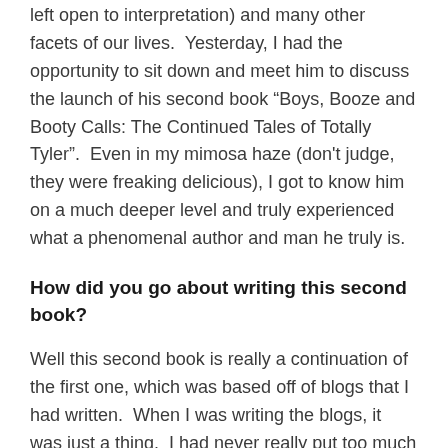left open to interpretation) and many other facets of our lives.  Yesterday, I had the opportunity to sit down and meet him to discuss the launch of his second book “Boys, Booze and Booty Calls: The Continued Tales of Totally Tyler”.  Even in my mimosa haze (don't judge, they were freaking delicious), I got to know him on a much deeper level and truly experienced what a phenomenal author and man he truly is.
How did you go about writing this second book?
Well this second book is really a continuation of the first one, which was based off of blogs that I had written.  When I was writing the blogs, it was just a thing.  I had never really put too much thought into where it would go.  One day I was approached by a